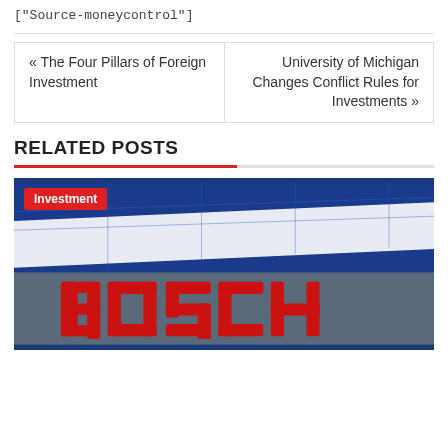["Source-moneycontrol"]
« The Four Pillars of Foreign Investment
University of Michigan Changes Conflict Rules for Investments »
RELATED POSTS
[Figure (photo): Bosch company sign with red letters on a blue building facade, with a red 'Investment' category badge overlaid in the top-left corner.]